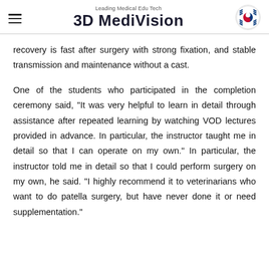Leading Medical Edu Tech 3D MediVision
recovery is fast after surgery with strong fixation, and stable transmission and maintenance without a cast.
One of the students who participated in the completion ceremony said, "It was very helpful to learn in detail through assistance after repeated learning by watching VOD lectures provided in advance. In particular, the instructor taught me in detail so that I can operate on my own." In particular, the instructor told me in detail so that I could perform surgery on my own, he said. "I highly recommend it to veterinarians who want to do patella surgery, but have never done it or need supplementation."